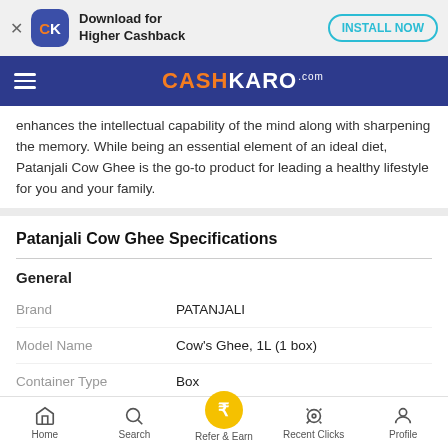[Figure (screenshot): App install banner with CashKaro icon, 'Download for Higher Cashback' text, and INSTALL NOW button]
[Figure (logo): CashKaro navigation bar with hamburger menu and orange/white CASHKARO.com logo on blue background]
enhances the intellectual capability of the mind along with sharpening the memory. While being an essential element of an ideal diet, Patanjali Cow Ghee is the go-to product for leading a healthy lifestyle for you and your family.
Patanjali Cow Ghee Specifications
General
| Field | Value |
| --- | --- |
| Brand | PATANJALI |
| Model Name | Cow's Ghee, 1L (1 box) |
| Container Type | Box |
Home | Search | Refer & Earn | Recent Clicks | Profile